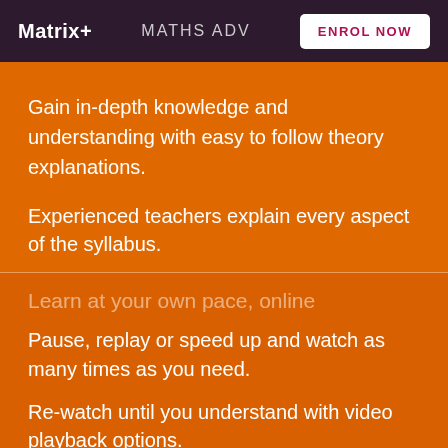Matrix+ | MATHS ADV | ENROL NOW
Gain in-depth knowledge and understanding with easy to follow theory explanations.
Experienced teachers explain every aspect of the syllabus.
Learn at your own pace, online
Pause, replay or speed up and watch as many times as you need.
Re-watch until you understand with video playback options.
Our website uses cookies to provide you with a better browsing experience. If you continue to use this site, you consent to our use of cookies. Read our cookies statement.
OK, I UNDERSTAND